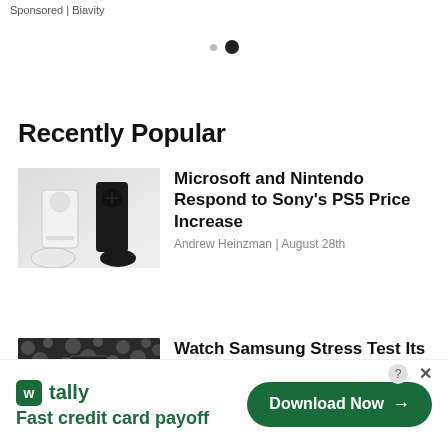Sponsored | Biavity
[Figure (other): Pagination dots — one small grey dot and one larger dark dot indicating carousel position]
Recently Popular
[Figure (photo): Xbox Series S and Xbox Series X consoles with controllers on white background]
Microsoft and Nintendo Respond to Sony's PS5 Price Increase
Andrew Heinzman | August 28th
[Figure (photo): Samsung foldable phone displayed in a room with bokeh light circles on dark background]
Watch Samsung Stress Test Its Foldables In This Video
Andrew Heinzman | August 27th
[Figure (infographic): Tally advertisement banner with logo, Fast credit card payoff tagline, and Download Now button]